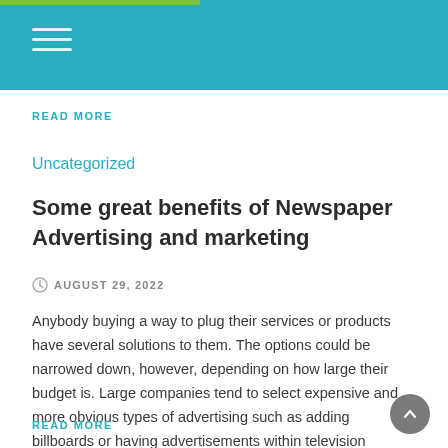Navigation header with teal background and hamburger menu
READ MORE
Uncategorized
Some great benefits of Newspaper Advertising and marketing
AUGUST 29, 2022
Anybody buying a way to plug their services or products have several solutions to them. The options could be narrowed down, however, depending on how large their budget is. Large companies tend to select expensive and more obvious types of advertising such as adding billboards or having advertisements within television commercials. Other programs that not [...]
READ MORE